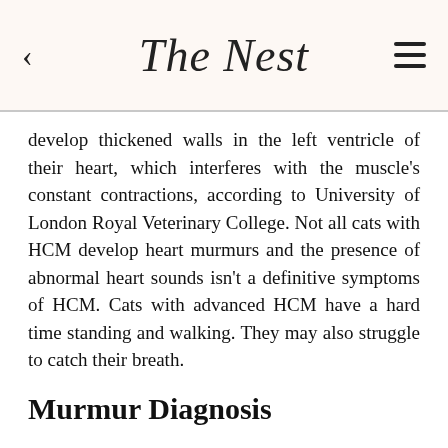The Nest
develop thickened walls in the left ventricle of their heart, which interferes with the muscle's constant contractions, according to University of London Royal Veterinary College. Not all cats with HCM develop heart murmurs and the presence of abnormal heart sounds isn't a definitive symptoms of HCM. Cats with advanced HCM have a hard time standing and walking. They may also struggle to catch their breath.
Murmur Diagnosis
Even if your ragdoll has a heart murmur, it doesn't necessarily mean he has hereditary HCM. Your vet may run blood pressure and serum chemistry tests to make sure nothing is interfering with your kitty's